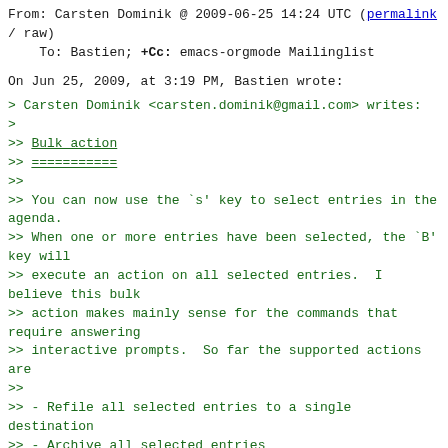From: Carsten Dominik @ 2009-06-25 14:24 UTC (permalink / raw)
    To: Bastien; +Cc: emacs-orgmode Mailinglist
On Jun 25, 2009, at 3:19 PM, Bastien wrote:
> Carsten Dominik <carsten.dominik@gmail.com> writes:
>
>> Bulk action
>> ===========
>>
>> You can now use the `s' key to select entries in the agenda.
>> When one or more entries have been selected, the `B' key will
>> execute an action on all selected entries.  I believe this bulk
>> action makes mainly sense for the commands that require answering
>> interactive prompts.  So far the supported actions are
>>
>> - Refile all selected entries to a single destination
>> - Archive all selected entries
>> - Set the TODO state of all selected entries, bypassing any
>>    blocking or note-taking.
>> - Add or remove a tag to/from all selected entries
>>